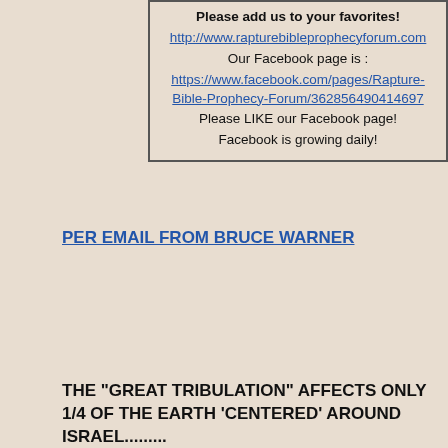Please add us to your favorites!
http://www.rapturebibleprophecyforum.com
Our Facebook page is :
https://www.facebook.com/pages/Rapture-Bible-Prophecy-Forum/362856490414697
Please LIKE our Facebook page!
Facebook is growing daily!
PER EMAIL FROM BRUCE WARNER
THE "GREAT TRIBULATION" AFFECTS ONLY 1/4 OF THE EARTH 'CENTERED' AROUND ISRAEL.........